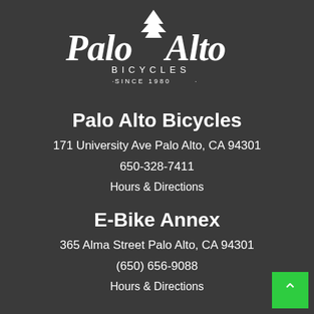[Figure (logo): Palo Alto Bicycles logo with decorative script text 'Palo Alto' and a tree illustration, with 'BICYCLES' and 'SINCE 1980' below in smaller text]
Palo Alto Bicycles
171 University Ave Palo Alto, CA 94301
650-328-7411
Hours & Directions
E-Bike Annex
365 Alma Street Palo Alto, CA 94301
(650) 656-9088
Hours & Directions